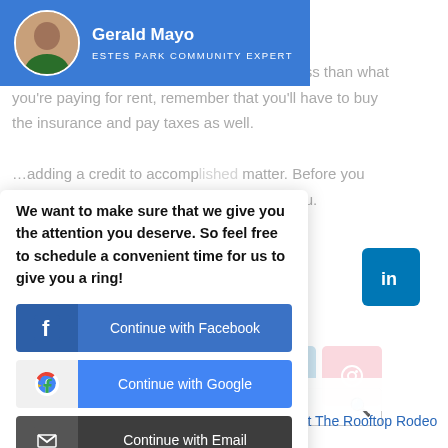[Figure (screenshot): Profile card for Gerald Mayo, Estes Park Community Expert, overlaid on webpage content with blurred background text about mortgage payments]
We want to make sure that we give you the attention you deserve. So feel free to schedule a convenient time for us to give you a ring!
[Figure (screenshot): Login modal with Continue with Facebook (blue), Continue with Google (blue), Continue with Email (dark) buttons]
RECENT POSTS
Round Up The Family For A Night At The Rooftop Rodeo